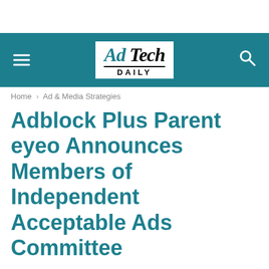Ad Tech Daily
Home › Ad & Media Strategies
Adblock Plus Parent eyeo Announces Members of Independent Acceptable Ads Committee
By Ad Tech Daily - March 15, 2017
[Figure (infographic): Social sharing icons row: Twitter, LinkedIn, Facebook, Reddit, Email, Buffer — each with a colored underline bar]